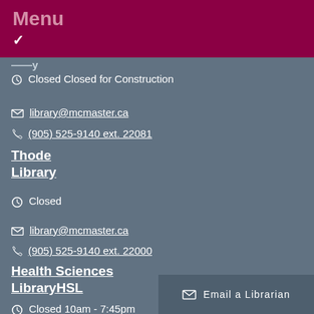Menu
Closed Closed for Construction
library@mcmaster.ca
(905) 525-9140 ext. 22081
Thode Library
Closed
library@mcmaster.ca
(905) 525-9140 ext. 22000
Health Sciences LibraryHSL
Closed 10am - 7:45pm
hslib@mcmaster.ca
Email a Librarian